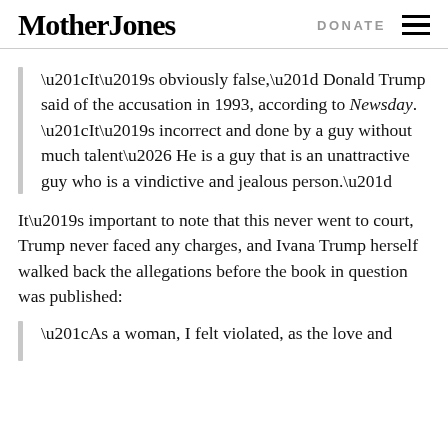Mother Jones | DONATE
“It’s obviously false,” Donald Trump said of the accusation in 1993, according to Newsday. “It’s incorrect and done by a guy without much talent… He is a guy that is an unattractive guy who is a vindictive and jealous person.”
It’s important to note that this never went to court, Trump never faced any charges, and Ivana Trump herself walked back the allegations before the book in question was published:
“As a woman, I felt violated, as the love and